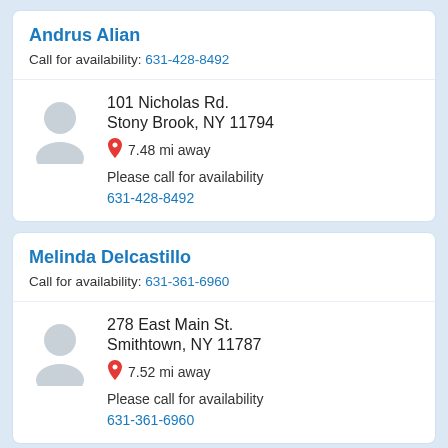Andrus Alian
Call for availability: 631-428-8492
101 Nicholas Rd. Stony Brook, NY 11794 7.48 mi away Please call for availability 631-428-8492
Melinda Delcastillo
Call for availability: 631-361-6960
278 East Main St. Smithtown, NY 11787 7.52 mi away Please call for availability